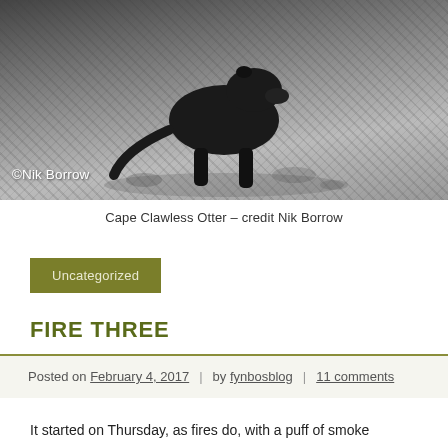[Figure (photo): Black and white photograph of a Cape Clawless Otter on rocky ground, with copyright watermark '©Nik Borrow' visible on the image]
Cape Clawless Otter – credit Nik Borrow
Uncategorized
FIRE THREE
Posted on February 4, 2017 | by fynbosblog | 11 comments
It started on Thursday, as fires do, with a puff of smoke